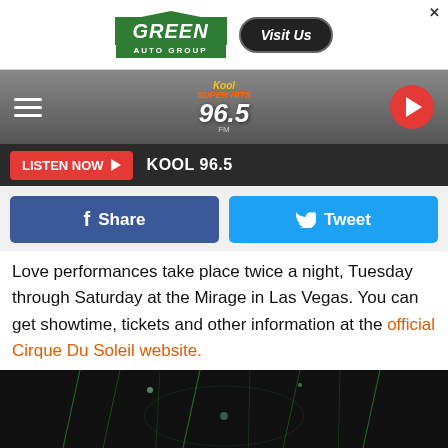[Figure (screenshot): Green Auto Group banner ad with Visit Us button and close X]
[Figure (screenshot): Kool Super Hits 96.5 FM radio website navigation bar with hamburger menu, logo, and play button]
[Figure (screenshot): Listen Now button bar with KOOL 96.5 station label]
[Figure (screenshot): Facebook Share and Twitter Tweet social sharing buttons]
Love performances take place twice a night, Tuesday through Saturday at the Mirage in Las Vegas. You can get showtime, tickets and other information at the official Cirque Du Soleil website.
[Figure (photo): Dark theatrical photo from Cirque Du Soleil show with glowing lights and performers]
[Figure (screenshot): Agri-Service advertisement: Together, we drive agriculture forward. Contact Us button.]